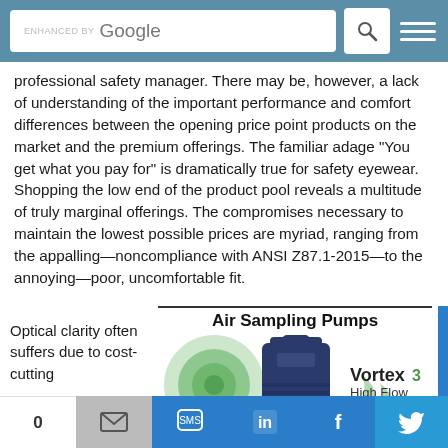ENHANCED BY Google [search bar with icon and menu]
professional safety manager. There may be, however, a lack of understanding of the important performance and comfort differences between the opening price point products on the market and the premium offerings. The familiar adage "You get what you pay for" is dramatically true for safety eyewear. Shopping the low end of the product pool reveals a multitude of truly marginal offerings. The compromises necessary to maintain the lowest possible prices are myriad, ranging from the appalling—noncompliance with ANSI Z87.1-2015—to the annoying—poor, uncomfortable fit.
Optical clarity often suffers due to cost-cutting
[Figure (advertisement): Air Sampling Pumps advertisement featuring a blue pump bottle with green swirl logo and Vortex3 High Flow branding]
0 [share bar with email, SMS, LinkedIn, Facebook, Twitter icons]